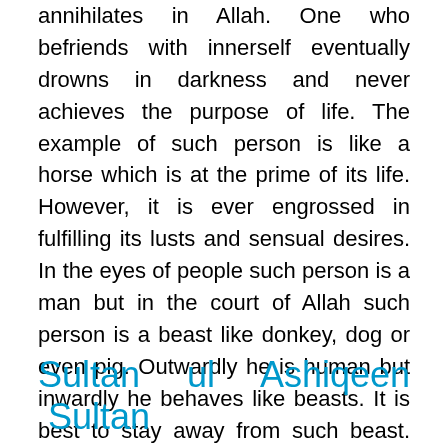annihilates in Allah. One who befriends with innerself eventually drowns in darkness and never achieves the purpose of life. The example of such person is like a horse which is at the prime of its life. However, it is ever engrossed in fulfilling its lusts and sensual desires. In the eyes of people such person is a man but in the court of Allah such person is a beast like donkey, dog or even pig. Outwardly he is human but inwardly he behaves like beasts. It is best to stay away from such beast. Everything other than Allah is lust. (Mehak al-Faqr Kalan)
Sultan ul Ashiqeen Sultan